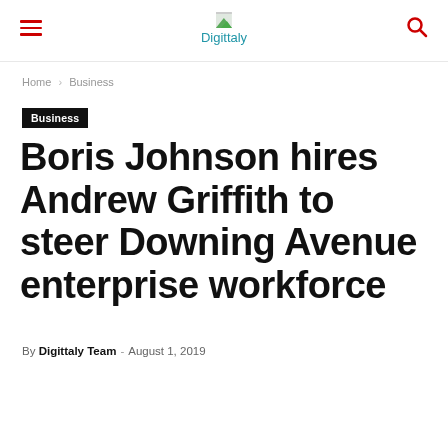Digittaly
Home › Business
Business
Boris Johnson hires Andrew Griffith to steer Downing Avenue enterprise workforce
By Digittaly Team - August 1, 2019